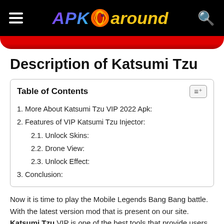APK around
Description of Katsumi Tzu
| Table of Contents |
| --- |
| 1. More About Katsumi Tzu VIP 2022 Apk: |
| 2. Features of VIP Katsumi Tzu Injector: |
| 2.1. Unlock Skins: |
| 2.2. Drone View: |
| 2.3. Unlock Effect: |
| 3. Conclusion: |
Now it is time to play the Mobile Legends Bang Bang battle. With the latest version mod that is present on our site. Katsumi Tzu VIP is one of the best tools that provide users with lots of cheats. With its help, you will get lots of cheating in your account. Now it